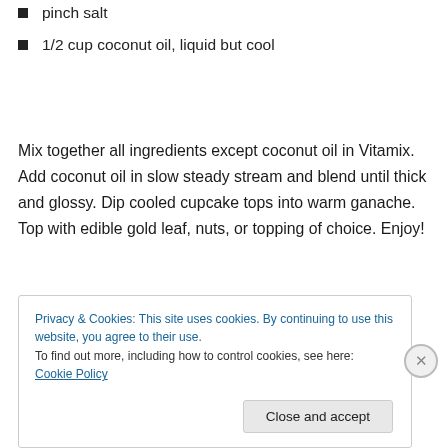pinch salt
1/2 cup coconut oil, liquid but cool
Mix together all ingredients except coconut oil in Vitamix. Add coconut oil in slow steady stream and blend until thick and glossy. Dip cooled cupcake tops into warm ganache. Top with edible gold leaf, nuts, or topping of choice. Enjoy!
Privacy & Cookies: This site uses cookies. By continuing to use this website, you agree to their use.
To find out more, including how to control cookies, see here: Cookie Policy